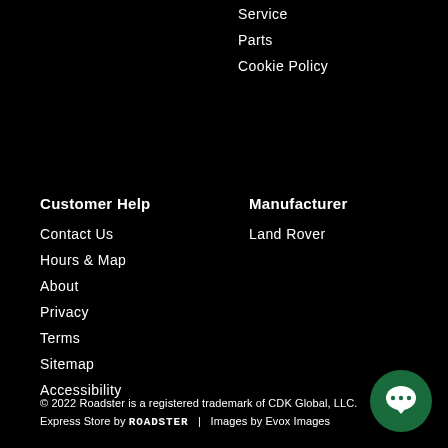Service
Parts
Cookie Policy
Customer Help
Contact Us
Hours & Map
About
Privacy
Terms
Sitemap
Accessibility
Manufacturer
Land Rover
© 2022 Roadster is a registered trademark of CDK Global, LLC.
Express Store by ROADSTER   |   Images by Evox Images